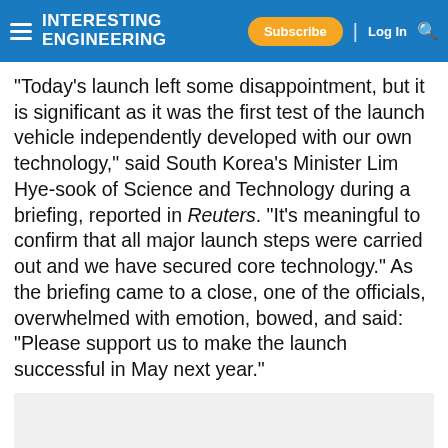Interesting Engineering — Subscribe | Log In
"Today's launch left some disappointment, but it is significant as it was the first test of the launch vehicle independently developed with our own technology," said South Korea's Minister Lim Hye-sook of Science and Technology during a briefing, reported in Reuters. "It's meaningful to confirm that all major launch steps were carried out and we have secured core technology." As the briefing came to a close, one of the officials, overwhelmed with emotion, bowed, and said: "Please support us to make the launch successful in May next year."
MOST POPULAR